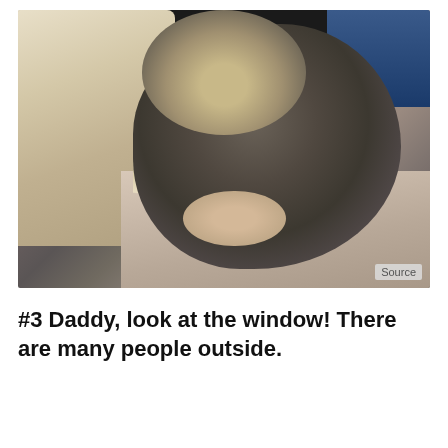[Figure (photo): A small fluffy dog (likely a Miniature Schnauzer) with grey and tan fur sitting on a pink/beige cushion or surface next to a cream-colored leather sofa. A blue cushion is visible in the top right. The dog appears to be looking down or to the side. A 'Source' watermark label is in the lower right corner of the image.]
#3 Daddy, look at the window! There are many people outside.